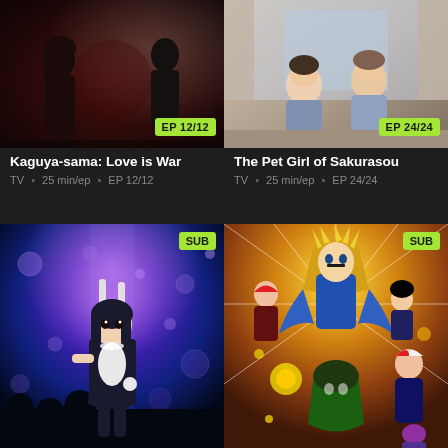[Figure (illustration): Anime show card for Kaguya-sama: Love is War. Dark red/black background with silhouetted anime figures. Badge showing EP 12/12.]
Kaguya-sama: Love is War
TV • 25 min/ep • EP 12/12
[Figure (illustration): Anime show card for The Pet Girl of Sakurasou. Warm beige/tan background with anime characters. Badge showing EP 24/24.]
The Pet Girl of Sakurasou
TV • 25 min/ep • EP 24/24
[Figure (illustration): Anime show card for bunny girl anime. Deep blue/purple underwater scene with jellyfish and a girl in bunny costume. SUB badge.]
[Figure (illustration): Anime show card for My Hero Academia. Yellow/orange background with multiple superhero anime characters. SUB badge.]